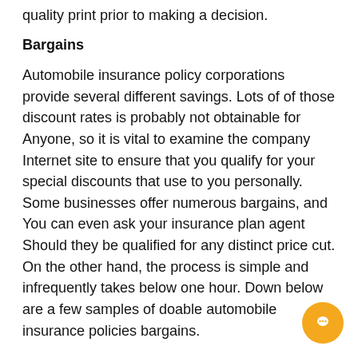quality print prior to making a decision.
Bargains
Automobile insurance policy corporations provide several different savings. Lots of of those discount rates is probably not obtainable for Anyone, so it is vital to examine the company Internet site to ensure that you qualify for your special discounts that use to you personally. Some businesses offer numerous bargains, and You can even ask your insurance plan agent Should they be qualified for any distinct price cut. On the other hand, the process is simple and infrequently takes below one hour. Down below are a few samples of doable automobile insurance policies bargains.
Legacy Savings: A vehicle insurance company may offer a reduction to new motorists who purchase their coverage by their moms and dads' firm. This discounted is mostly close to ten %. This can be one way to thank your parents for y